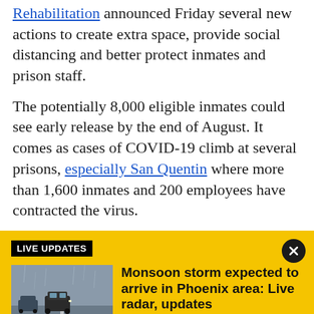Rehabilitation announced Friday several new actions to create extra space, provide social distancing and better protect inmates and prison staff.
The potentially 8,000 eligible inmates could see early release by the end of August. It comes as cases of COVID-19 climb at several prisons, especially San Quentin where more than 1,600 inmates and 200 employees have contracted the virus.
LIVE UPDATES
[Figure (photo): Cars driving on a wet rainy road during a monsoon storm]
Monsoon storm expected to arrive in Phoenix area: Live radar, updates
The Phoenix area is expecting another round of monsoon storms as most of the state is under a flood watch through Saturday night. We have the latest on this round of wet weather.